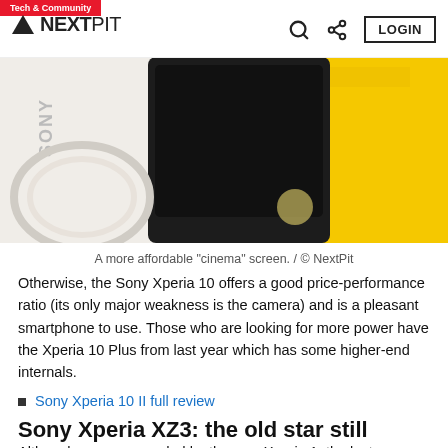Tech & Community | NEXTPIT | LOGIN
[Figure (photo): Sony Xperia 10 smartphone lying face down on a white surface with yellow and grey objects nearby]
A more affordable "cinema" screen. / © NextPit
Otherwise, the Sony Xperia 10 offers a good price-performance ratio (its only major weakness is the camera) and is a pleasant smartphone to use. Those who are looking for more power have the Xperia 10 Plus from last year which has some higher-end internals.
Sony Xperia 10 II full review
Sony Xperia XZ3: the old star still shines
Although now superseded by the new Xperia 1, the last